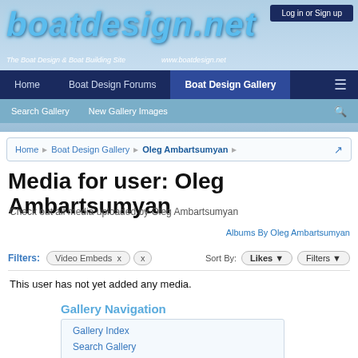[Figure (screenshot): boatdesign.net website header with logo, navigation bar, and secondary navigation]
Log in or Sign up
boatdesign.net | The Boat Design & Boat Building Site | www.boatdesign.net
Home | Boat Design Forums | Boat Design Gallery
Search Gallery | New Gallery Images
Home > Boat Design Gallery > Oleg Ambartsumyan
Media for user: Oleg Ambartsumyan
Check out all media uploaded by Oleg Ambartsumyan
Albums By Oleg Ambartsumyan
Filters: Video Embeds x  x   Sort By: Likes  Filters
This user has not yet added any media.
Gallery Navigation
Gallery Index
Search Gallery
New Gallery Images